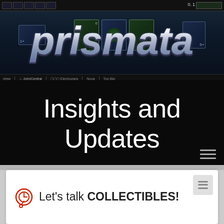[Figure (screenshot): Prismata game screenshot with logo overlay showing 'prismata' in metallic text and game UI elements]
Insights and Updates
Let's talk COLLECTIBLES!